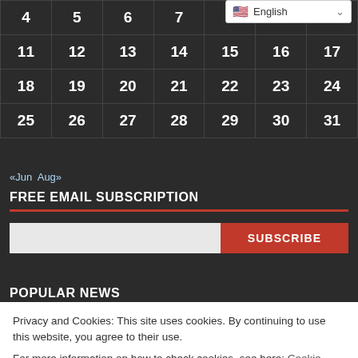| 4 | 5 | 6 | 7 | 8 | 9 | 10 |
| 11 | 12 | 13 | 14 | 15 | 16 | 17 |
| 18 | 19 | 20 | 21 | 22 | 23 | 24 |
| 25 | 26 | 27 | 28 | 29 | 30 | 31 |
«Jun  Aug»
FREE EMAIL SUBSCRIPTION
SUBSCRIBE
POPULAR NEWS
Privacy and Cookies: This site uses cookies. By continuing to use this website, you agree to their use.
For more information on how to check cookies, see here: Cookie Policy
OK
Why was the Home Care Salary not deposited, when will it be